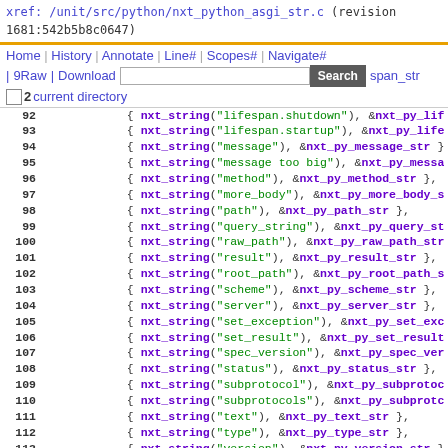xref: /unit/src/python/nxt_python_asgi_str.c (revision 1681:542b5b8c0647)
Home | History | Annotate | Line# | Scopes# | Navigate# | 9Raw | Download | Search span_str ...
02 current directory { nxt_string("lifespan.shutdown"), &nxt_py_lif ...
Code lines 92-115 showing nxt_string entries for lifespan.shutdown, lifespan.startup, message, message too big, method, more_body, path, query_string, raw_path, result, root_path, scheme, server, set_exception, set_result, spec_version, status, subprotocol, subprotocols, text, type, version, websocket, websocket.accept